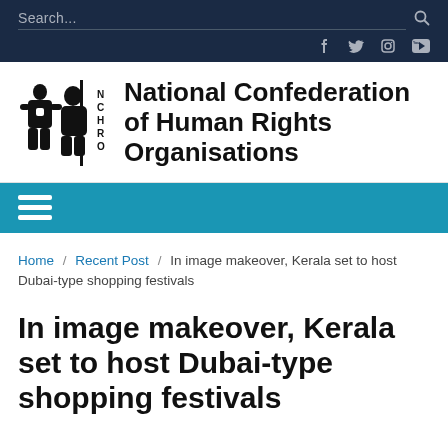Search...
[Figure (logo): NCHRO logo with stylized figures and text]
National Confederation of Human Rights Organisations
Home / Recent Post / In image makeover, Kerala set to host Dubai-type shopping festivals
In image makeover, Kerala set to host Dubai-type shopping festivals